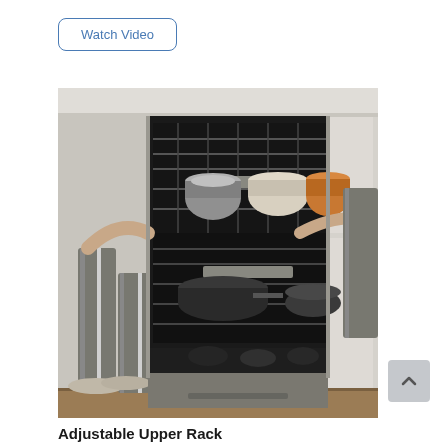Watch Video
[Figure (photo): A person loading dishes and cookware into an open dishwasher in a kitchen. The dishwasher has multiple racks visible with pots, pans, and utensils. The person is wearing grey pants and flat shoes.]
Adjustable Upper Rack